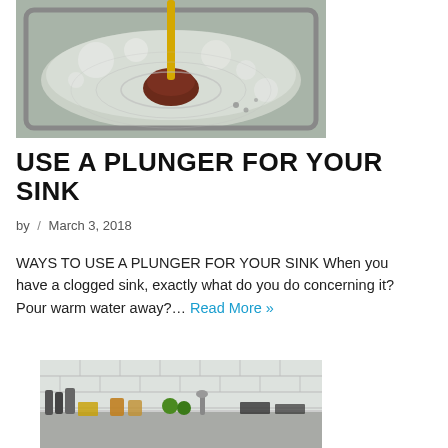[Figure (photo): A kitchen sink with a plunger being used in soapy/foamy water]
USE A PLUNGER FOR YOUR SINK
by / March 3, 2018
WAYS TO USE A PLUNGER FOR YOUR SINK When you have a clogged sink, exactly what do you do concerning it? Pour warm water away?… Read More »
[Figure (photo): A kitchen counter with various items and a subway tile backsplash]